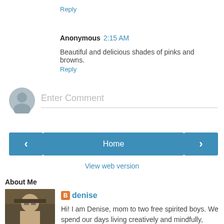Reply
Anonymous  2:15 AM
Beautiful and delicious shades of pinks and browns.
Reply
[Figure (other): Comment input area with default avatar icon and Enter Comment placeholder text]
[Figure (other): Navigation bar with left arrow button, Home button, and right arrow button]
View web version
About Me
[Figure (photo): Small profile photo of a person wearing glasses]
denise
Hi! I am Denise, mom to two free spirited boys. We spend our days living creatively and mindfully,